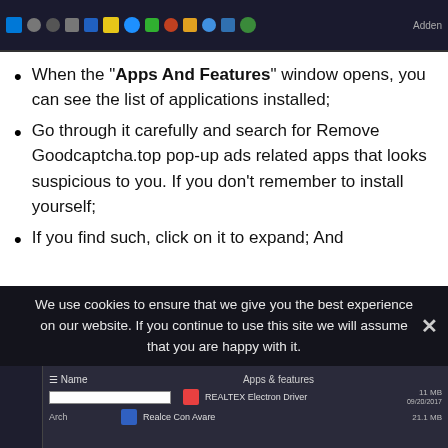[Figure (screenshot): Windows taskbar screenshot at top of page]
When the "Apps And Features" window opens, you can see the list of applications installed;
Go through it carefully and search for Remove Goodcaptcha.top pop-up ads related apps that looks suspicious to you. If you don't remember to install yourself;
If you find such, click on it to expand; And click on "Uninstall".
We use cookies to ensure that we give you the best experience on our website. If you continue to use this site we will assume that you are happy with it.
[Figure (screenshot): Apps and Features Windows settings panel screenshot at bottom]